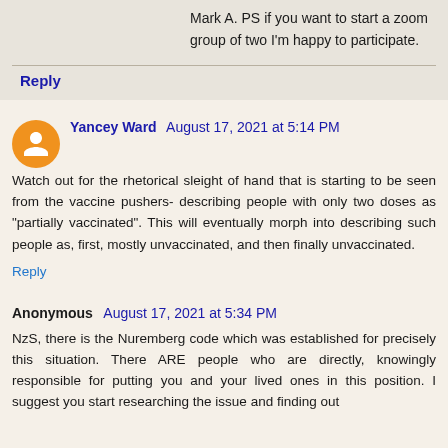Mark A. PS if you want to start a zoom group of two I'm happy to participate.
Reply
Yancey Ward August 17, 2021 at 5:14 PM
Watch out for the rhetorical sleight of hand that is starting to be seen from the vaccine pushers- describing people with only two doses as "partially vaccinated". This will eventually morph into describing such people as, first, mostly unvaccinated, and then finally unvaccinated.
Reply
Anonymous August 17, 2021 at 5:34 PM
NzS, there is the Nuremberg code which was established for precisely this situation. There ARE people who are directly, knowingly responsible for putting you and your lived ones in this position. I suggest you start researching the issue and finding out